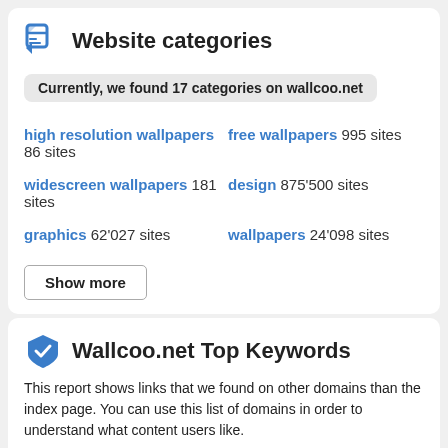Website categories
Currently, we found 17 categories on wallcoo.net
high resolution wallpapers 86 sites
free wallpapers 995 sites
widescreen wallpapers 181 sites
design 875'500 sites
graphics 62'027 sites
wallpapers 24'098 sites
Wallcoo.net Top Keywords
This report shows links that we found on other domains than the index page. You can use this list of domains in order to understand what content users like.
| Keyword | Position | Date |
| --- | --- | --- |
| http://wwww.wallcoo.com/ | 1 | 2016-02-05 |